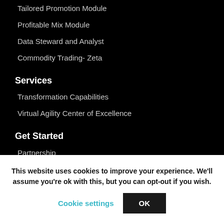Tailored Promotion Module
Profitable Mix Module
Data Steward and Analyst
Commodity Trading- Zeta
Services
Transformation Capabilities
Virtual Agility Center of Excellence
Get Started
Partnership
Insights
Video
Newsletter
This website uses cookies to improve your experience. We'll assume you're ok with this, but you can opt-out if you wish.
Cookie settings
OK